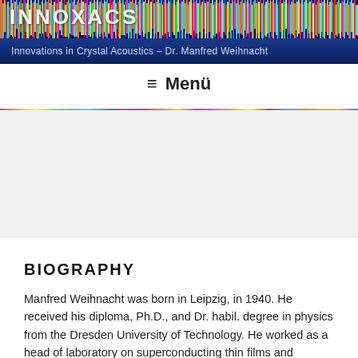INNOXACS
Innovations in Crystal Acoustics – Dr. Manfred Weihnacht
≡  Menü
[Figure (infographic): Colorful horizontal noise/spectrum bar across the full width of the page]
[Figure (infographic): Light gray placeholder/advertisement area]
BIOGRAPHY
Manfred Weihnacht was born in Leipzig, in 1940. He received his diploma, Ph.D., and Dr. habil. degree in physics from the Dresden University of Technology. He worked as a head of laboratory on superconducting thin films and tunneling structures for applications in low